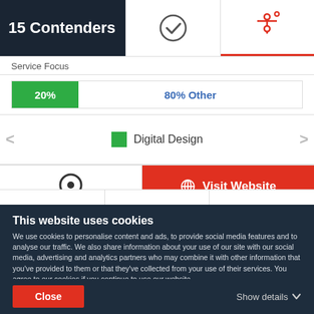15 Contenders
[Figure (infographic): Service focus horizontal bar showing 20% green segment and 80% Other in blue text]
Service Focus
20%
80% Other
Digital Design
[Figure (logo): Clutch logo (C icon)]
Visit Website
This website uses cookies
We use cookies to personalise content and ads, to provide social media features and to analyse our traffic. We also share information about your use of our site with our social media, advertising and analytics partners who may combine it with other information that you've provided to them or that they've collected from your use of their services. You agree to our cookies if you continue to use our website.
Close
Show details